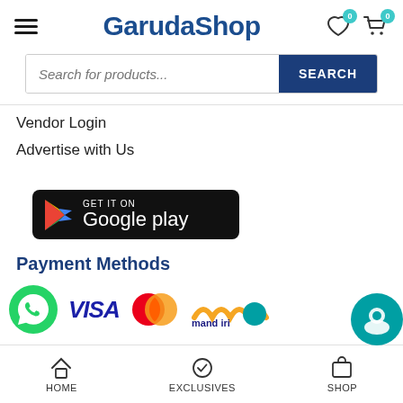GarudaShop
[Figure (screenshot): Search bar with placeholder 'Search for products...' and a navy SEARCH button]
Vendor Login
Advertise with Us
[Figure (logo): GET IT ON Google play button]
Payment Methods
[Figure (logo): Payment method logos: WhatsApp, VISA, Mastercard, Mandiri]
HOME   EXCLUSIVES   SHOP